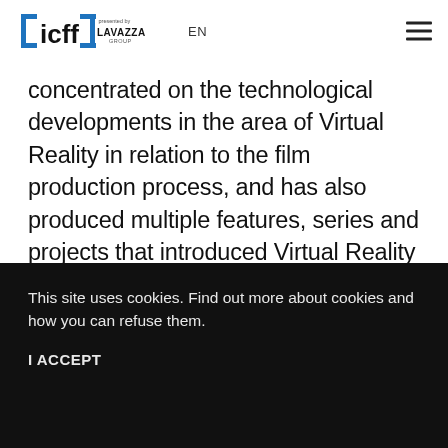[Figure (logo): ICFF logo with bracket styling and LAVAZZA GROUP presented-by logo, followed by EN language selector and hamburger menu icon]
concentrated on the technological developments in the area of Virtual Reality in relation to the film production process, and has also produced multiple features, series and projects that introduced Virtual Reality in Italy (e.g., Revenge Room, a new transmedia format launched at the 77th edition of the Venice Film Festival).
This site uses cookies. Find out more about cookies and how you can refuse them.
I ACCEPT